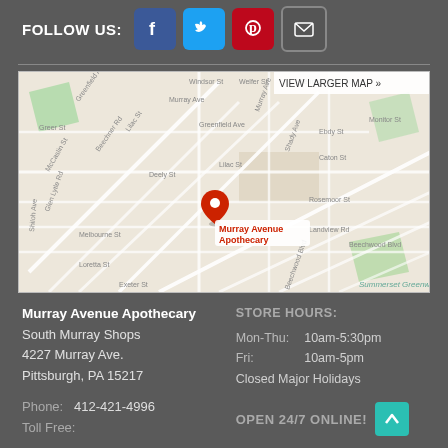FOLLOW US:
[Figure (infographic): Social media icons: Facebook (blue), Twitter (light blue), Pinterest (red), Email (dark gray)]
[Figure (map): Google Map showing Murray Avenue Apothecary location in Pittsburgh, PA with a red pin marker. Streets visible include Murray Ave, Beechwood Blvd, Greenfield Ave, and surrounding streets. 'VIEW LARGER MAP »' button in upper right.]
Murray Avenue Apothecary
South Murray Shops
4227 Murray Ave.
Pittsburgh, PA 15217
STORE HOURS:
Mon-Thu: 10am-5:30pm
Fri: 10am-5pm
Closed Major Holidays
Phone: 412-421-4996
OPEN 24/7 ONLINE!
Toll Free: